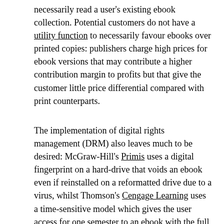necessarily read a user's existing ebook collection. Potential customers do not have a utility function to necessarily favour ebooks over printed copies: publishers charge high prices for ebook versions that may contribute a higher contribution margin to profits but that give the customer little price differential compared with print counterparts.
The implementation of digital rights management (DRM) also leaves much to be desired: McGraw-Hill's Primis uses a digital fingerprint on a hard-drive that voids an ebook even if reinstalled on a reformatted drive due to a virus, whilst Thomson's Cengage Learning uses a time-sensitive model which gives the user access for one semester to an ebook with the full price of its exact print version. Publishers are also slow to adjust cross-currency rates: Australian textbooks still cost $A120-$200 despite near parity between the Australian